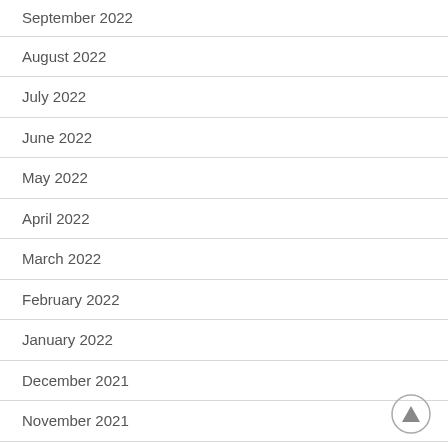September 2022
August 2022
July 2022
June 2022
May 2022
April 2022
March 2022
February 2022
January 2022
December 2021
November 2021
October 2021